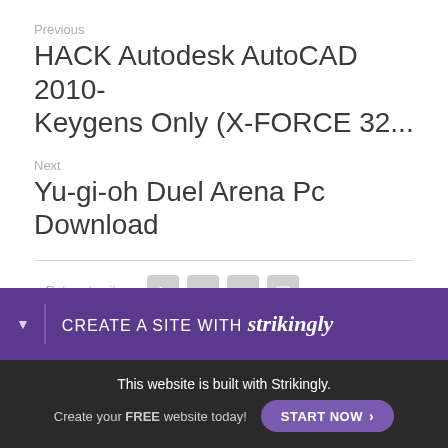Previous
HACK Autodesk AutoCAD 2010- Keygens Only (X-FORCE 32...
Next
Yu-gi-oh Duel Arena Pc Download
< Return to site
Powered by Strikingly
CREATE A SITE WITH strikingly
This website is built with Strikingly.
Create your FREE website today!
START NOW >